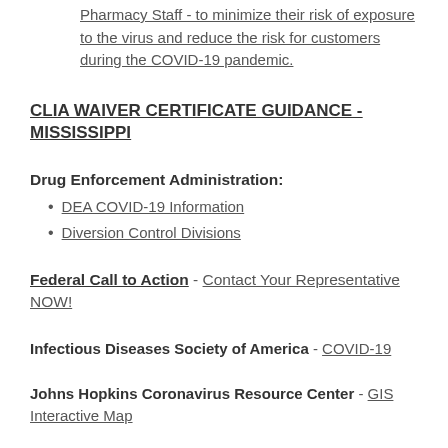Pharmacy Staff - to minimize their risk of exposure to the virus and reduce the risk for customers during the COVID-19 pandemic.
CLIA WAIVER CERTIFICATE GUIDANCE - MISSISSIPPI
Drug Enforcement Administration:
DEA COVID-19 Information
Diversion Control Divisions
Federal Call to Action - Contact Your Representative NOW!
Infectious Diseases Society of America - COVID-19
Johns Hopkins Coronavirus Resource Center - GIS Interactive Map